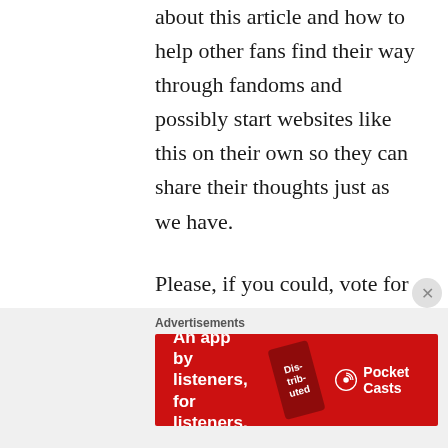about this article and how to help other fans find their way through fandoms and possibly start websites like this on their own so they can share their thoughts just as we have.

Please, if you could, vote for us. From the bottom of our hearts, we want to meet our readers and members of our fandom – ARMY or not. We really want to meet all
Advertisements
[Figure (other): Advertisement banner for Pocket Casts app with red background. Shows text 'An app by listeners, for listeners.' with Pocket Casts logo and a phone image showing 'Distributed' text.]